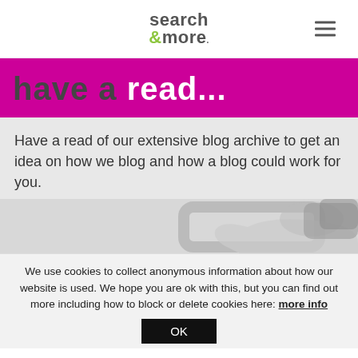search &more
[Figure (illustration): search &more logo with hamburger menu icon]
have a read...
Have a read of our extensive blog archive to get an idea on how we blog and how a blog could work for you.
[Figure (photo): Partial view of reading glasses on a grey background]
We use cookies to collect anonymous information about how our website is used. We hope you are ok with this, but you can find out more including how to block or delete cookies here: more info
OK